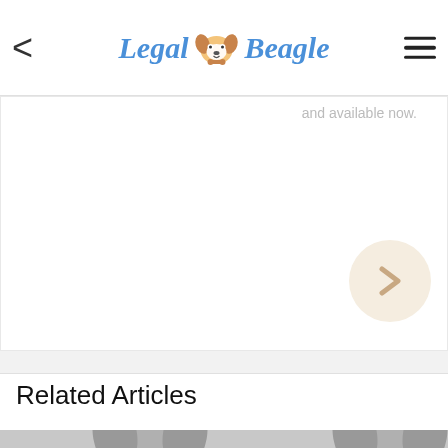Legal Beagle
[Figure (screenshot): Partially visible slide or article content with 'and available now' text and a next/forward navigation button]
Related Articles
[Figure (photo): Thumbnail image showing dog silhouettes in grayscale for related articles section]